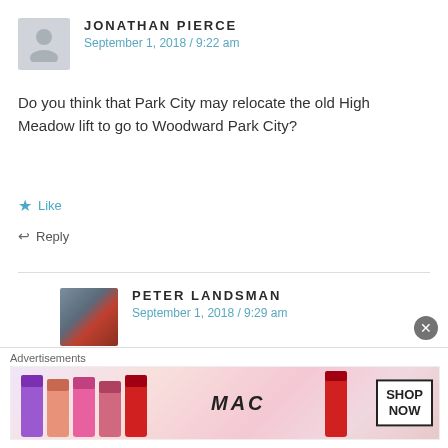JONATHAN PIERCE — September 1, 2018 / 9:22 am
Do you think that Park City may relocate the old High Meadow lift to go to Woodward Park City?
Like
Reply
PETER LANDSMAN — September 1, 2018 / 9:29 am
It was still in the Cabriolet parking lot as of a few weeks ago. Woodward Park City is a Powdr project s
[Figure (other): MAC Cosmetics advertisement banner showing lipsticks with SHOP NOW button]
Advertisements